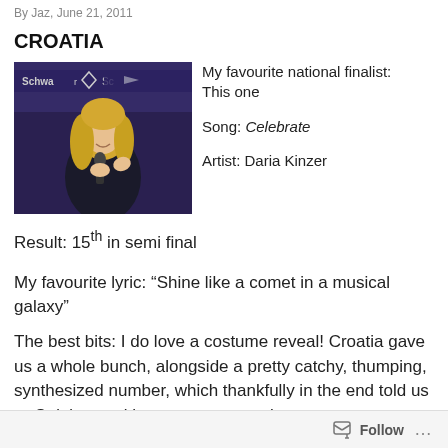By Jaz, June 21, 2011
CROATIA
[Figure (photo): Photo of a blonde woman singing into a microphone at what appears to be a press event, with Schwarzkopf branding visible in the background.]
My favourite national finalist: This one

Song: Celebrate

Artist: Daria Kinzer
Result: 15th in semi final
My favourite lyric: “Shine like a comet in a musical galaxy”
The best bits: I do love a costume reveal! Croatia gave us a whole bunch, alongside a pretty catchy, thumping, synthesized number, which thankfully in the end told us to Celebrate with every step we take,
Follow ...